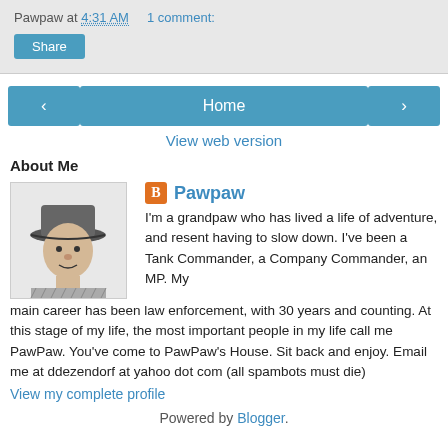Pawpaw at 4:31 AM    1 comment:
Share
[Figure (screenshot): Navigation bar with back arrow button, Home button, and forward arrow button]
View web version
About Me
[Figure (illustration): Black and white illustration of a man wearing a hat]
Pawpaw
I'm a grandpaw who has lived a life of adventure, and resent having to slow down. I've been a Tank Commander, a Company Commander, an MP. My main career has been law enforcement, with 30 years and counting. At this stage of my life, the most important people in my life call me PawPaw. You've come to PawPaw's House. Sit back and enjoy. Email me at ddezendorf at yahoo dot com (all spambots must die)
View my complete profile
Powered by Blogger.